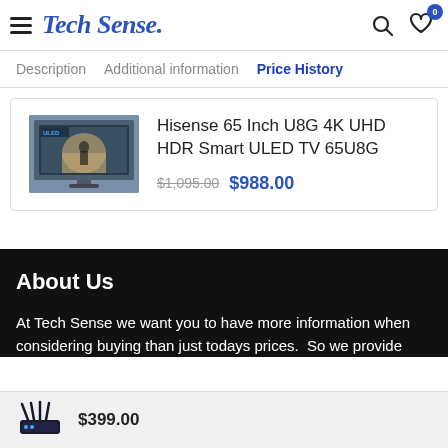Tech Sense.
Description  Additional information  Price History
Hisense 65 Inch U8G 4K UHD HDR Smart ULED TV 65U8G
$1,095.00  $988.00
About Us
At Tech Sense we want you to have more information when considering buying than just todays prices.  So we provide
$399.00